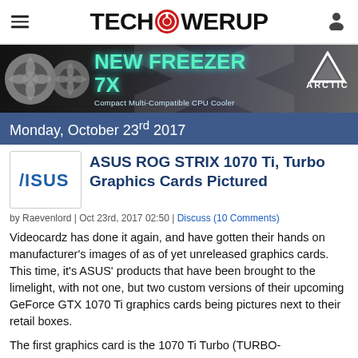TECHPOWERUP
[Figure (illustration): Arctic New Freezer 7X CPU cooler advertisement banner with dark background, showing two CPU coolers, Arctic logo, and text 'NEW FREEZER 7X Compact Multi-Compatible CPU Cooler']
Monday, October 23rd 2017
ASUS ROG STRIX 1070 Ti, Turbo Graphics Cards Pictured
by Raevenlord | Oct 23rd, 2017 02:50 | Discuss (10 Comments)
Videocardz has done it again, and have gotten their hands on manufacturer's images of as of yet unreleased graphics cards. This time, it's ASUS' products that have been brought to the limelight, with not one, but two custom versions of their upcoming GeForce GTX 1070 Ti graphics cards being pictures next to their retail boxes.
The first graphics card is the 1070 Ti Turbo (TURBO-